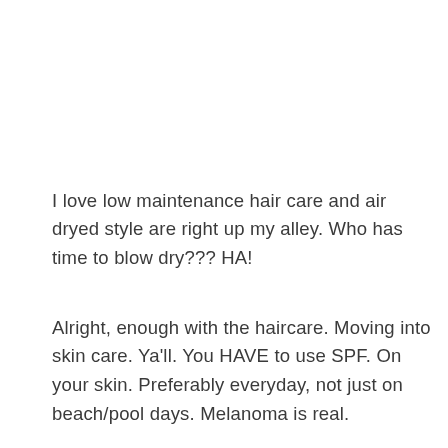I love low maintenance hair care and air dryed style are right up my alley. Who has time to blow dry??? HA!
Alright, enough with the haircare. Moving into skin care. Ya'll. You HAVE to use SPF. On your skin. Preferably everyday, not just on beach/pool days. Melanoma is real.
Now, I get it. Sunscreen breaks you out, it feels